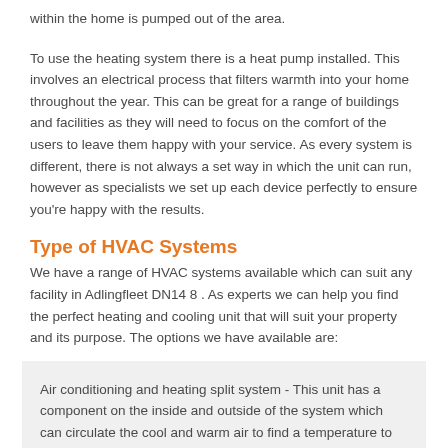within the home is pumped out of the area.
To use the heating system there is a heat pump installed. This involves an electrical process that filters warmth into your home throughout the year. This can be great for a range of buildings and facilities as they will need to focus on the comfort of the users to leave them happy with your service. As every system is different, there is not always a set way in which the unit can run, however as specialists we set up each device perfectly to ensure you're happy with the results.
Type of HVAC Systems
We have a range of HVAC systems available which can suit any facility in Adlingfleet DN14 8 . As experts we can help you find the perfect heating and cooling unit that will suit your property and its purpose. The options we have available are:
Air conditioning and heating split system - This unit has a component on the inside and outside of the system which can circulate the cool and warm air to find a temperature to suit you.